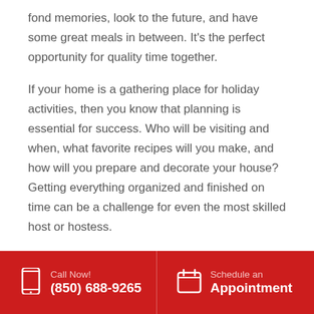fond memories, look to the future, and have some great meals in between. It's the perfect opportunity for quality time together.
If your home is a gathering place for holiday activities, then you know that planning is essential for success. Who will be visiting and when, what favorite recipes will you make, and how will you prepare and decorate your house? Getting everything organized and finished on time can be a challenge for even the most skilled host or hostess.
If you or your loved ones suffer from a health condition, however, then you know that an allergic
Call Now! (850) 688-9265  Schedule an Appointment